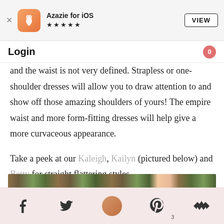Azazie for iOS ★★★★★ VIEW
Login
and the waist is not very defined. Strapless or one-shoulder dresses will allow you to draw attention to and show off those amazing shoulders of yours! The empire waist and more form-fitting dresses will help give a more curvaceous appearance.
Take a peek at our Kaleigh, Kailyn (pictured below) and Betty for straight flattering styles.
[Figure (photo): Outdoor photo showing women in dresses against a leafy green and wooden background]
[Figure (screenshot): Bottom navigation bar with Facebook, Twitter, circular profile image, Pinterest (with badge 3), and crown icon on pink/rose background]